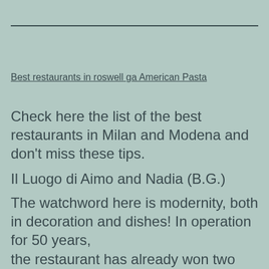Best restaurants in roswell ga American Pasta
Check here the list of the best restaurants in Milan and Modena and don't miss these tips.
Il Luogo di Aimo and Nadia (B.G.)
The watchword here is modernity, both in decoration and dishes! In operation for 50 years, the restaurant has already won two stars in the Michelin Guide, but has not lost its simplicity